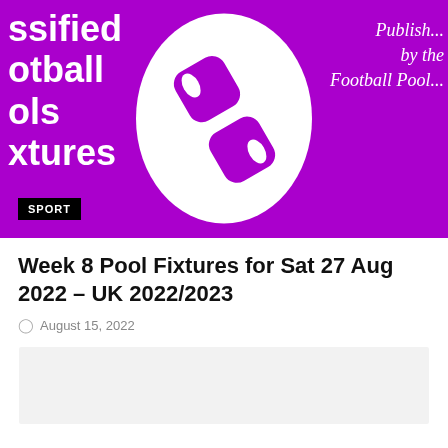[Figure (illustration): Purple hero banner with white large text on the left reading 'ssified', 'otball', 'ols', 'xtures', a white oval with a purple figure-8 pool ball icon in the center, and italic cursive text on the right reading 'Publish... by the Football Pool...' A black 'SPORT' badge is in the lower left corner.]
Week 8 Pool Fixtures for Sat 27 Aug 2022 – UK 2022/2023
August 15, 2022
[Figure (other): Light gray advertisement placeholder block]